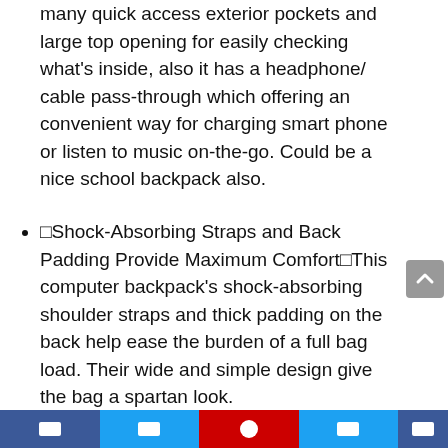many quick access exterior pockets and large top opening for easily checking what's inside, also it has a headphone/ cable pass-through which offering an convenient way for charging smart phone or listen to music on-the-go. Could be a nice school backpack also.
🔷Shock-Absorbing Straps and Back Padding Provide Maximum Comfort🔷This computer backpack's shock-absorbing shoulder straps and thick padding on the back help ease the burden of a full bag load. Their wide and simple design give the bag a spartan look.
🔶100% SATISFACTION GUARANTEE🔶We offer 30 days free return and exchange, 90 days quality warranty. If you have any question, Please do not hesitate to contact us.